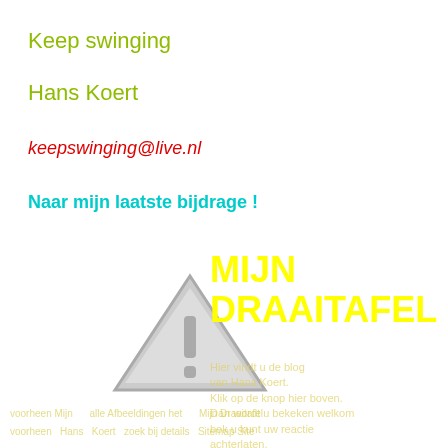Keep swinging
Hans Koert
keepswinging@live.nl
Naar mijn laatste bijdrage !
MIJN DRAAITAFEL
[Figure (illustration): Gray warning triangle with exclamation mark]
Hier vindt u de blog van Hans Koert. Klik op de knop hier boven. Dan wordt u bekeken welkom bok u kunt uw reactie achterlaten.
voorheen Mijn     alle Afbeeldingen het     Mijn Draaitafel
voorheen   Hans   Koert   zoek bij details   Sitemap Site